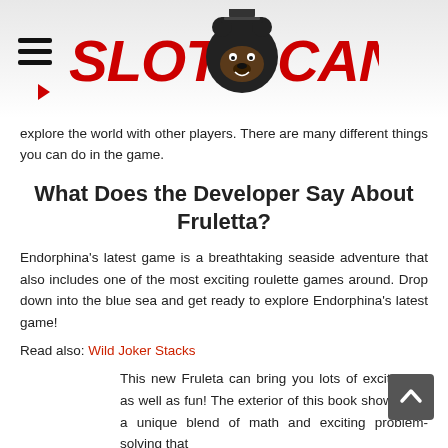SLOTS CANADA
explore the world with other players. There are many different things you can do in the game.
What Does the Developer Say About Fruletta?
Endorphina's latest game is a breathtaking seaside adventure that also includes one of the most exciting roulette games around. Drop down into the blue sea and get ready to explore Endorphina's latest game!
Read also: Wild Joker Stacks
This new Fruleta can bring you lots of excitement as well as fun! The exterior of this book showcases a unique blend of math and exciting problem-solving that will make the reader want to dive into the deep content from the